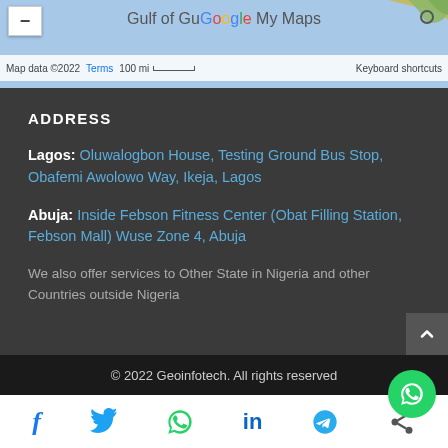[Figure (map): Google My Maps screenshot showing Gulf of Guinea area with map controls, zoom button, scale bar showing 100 mi, and keyboard shortcuts link]
ADDRESS
Lagos: Oluwalogbon House, Testing Ground Bus Stop, Obafemi Awolowo Way, Ikeja, Lagos
Abuja: Inside Febson Fitness Center (Obat Filling Station, Febson Mall) Wuse Zone 4, Abuja
We also offer services to Other State in Nigeria and other Countries outside Nigeria
© 2022 Geoinfotech. All rights reserved